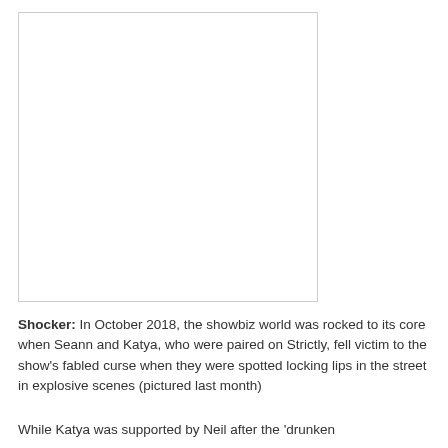[Figure (photo): A blank/white photograph placeholder with a thin grey border]
Shocker: In October 2018, the showbiz world was rocked to its core when Seann and Katya, who were paired on Strictly, fell victim to the show's fabled curse when they were spotted locking lips in the street in explosive scenes (pictured last month)
While Katya was supported by Neil after the ‘drunken